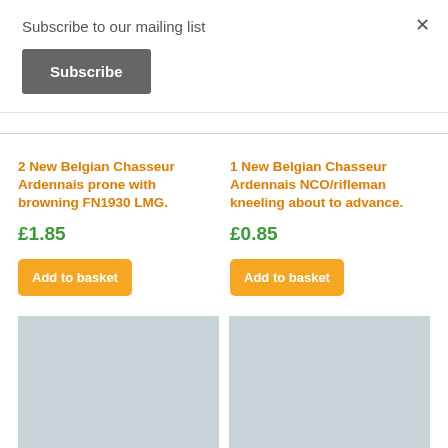Subscribe to our mailing list
×
Subscribe
2 New Belgian Chasseur Ardennais prone with browning FN1930 LMG.
£1.85
Add to basket
1 New Belgian Chasseur Ardennais NCO/rifleman kneeling about to advance.
£0.85
Add to basket
[Figure (photo): Product image placeholder left]
[Figure (photo): Product image placeholder right]